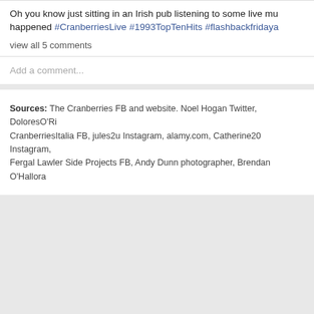Oh you know just sitting in an Irish pub listening to some live mu... happened #CranberriesLive #1993TopTenHits #flashbackfridaya
view all 5 comments
Add a comment...
Sources: The Cranberries FB and website. Noel Hogan Twitter, DoloresO'Ri... CranberriesItalia FB, jules2u Instagram, alamy.com, Catherine20 Instagram, Fergal Lawler Side Projects FB, Andy Dunn photographer, Brendan O'Hallora...
Copyright © 1999-2022 Cranberries World. All rights reserved.